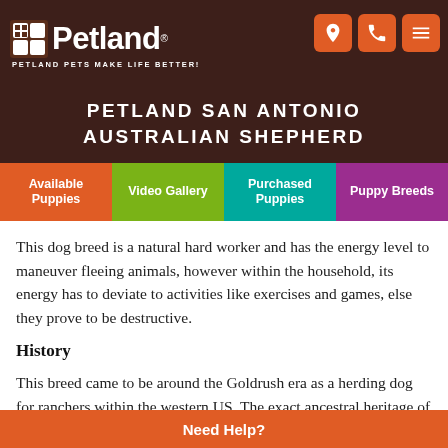Petland — PETLAND PETS MAKE LIFE BETTER!
PETLAND SAN ANTONIO AUSTRALIAN SHEPHERD
Available Puppies
Video Gallery
Purchased Puppies
Puppy Breeds
This dog breed is a natural hard worker and has the energy level to maneuver fleeing animals, however within the household, its energy has to deviate to activities like exercises and games, else they prove to be destructive.
History
This breed came to be around the Goldrush era as a herding dog for ranchers within the western US. The exact ancestral heritage of this breed isn't precise per se. There are a lot of possible theories however, the Australian
Need Help?